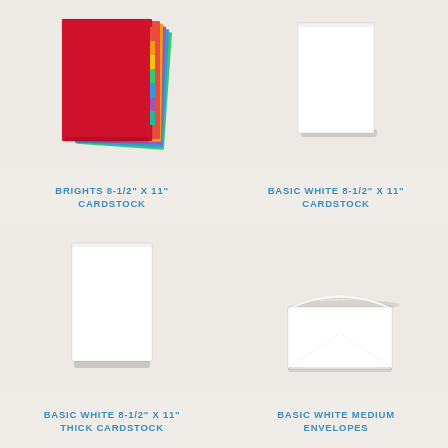[Figure (photo): Stack of brightly colored cardstock sheets fanned out, with red on top and rainbow colors visible on the edges]
BRIGHTS 8-1/2" X 11" CARDSTOCK
[Figure (photo): Single white cardstock sheet on a light beige background]
BASIC WHITE 8-1/2" X 11" CARDSTOCK
[Figure (photo): Single white thick cardstock sheet on a light beige background]
BASIC WHITE 8-1/2" X 11" THICK CARDSTOCK
[Figure (photo): White medium envelope with flap slightly open on a light beige background]
BASIC WHITE MEDIUM ENVELOPES